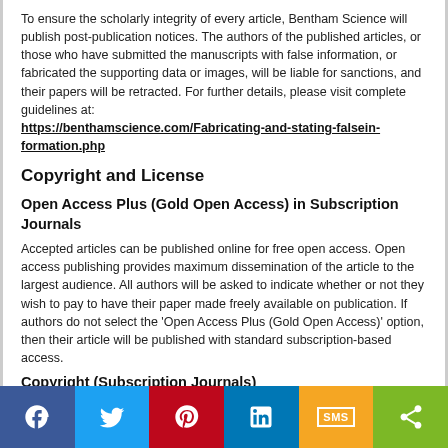To ensure the scholarly integrity of every article, Bentham Science will publish post-publication notices. The authors of the published articles, or those who have submitted the manuscripts with false information, or fabricated the supporting data or images, will be liable for sanctions, and their papers will be retracted. For further details, please visit complete guidelines at: https://benthamscience.com/Fabricating-and-stating-falsein-formation.php
Copyright and License
Open Access Plus (Gold Open Access) in Subscription Journals
Accepted articles can be published online for free open access. Open access publishing provides maximum dissemination of the article to the largest audience. All authors will be asked to indicate whether or not they wish to pay to have their paper made freely available on publication. If authors do not select the 'Open Access Plus (Gold Open Access)' option, then their article will be published with standard subscription-based access.
Copyright (Subscription Journals)